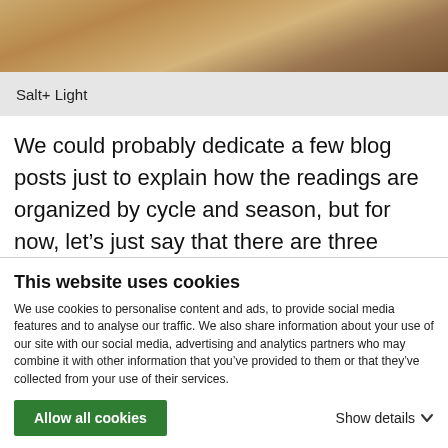[Figure (photo): Partial view of a wooden surface, likely a table or desk, photo strip at top of page]
Salt+ Light
We could probably dedicate a few blog posts just to explain how the readings are organized by cycle and season, but for now, let’s just say that there are three Liturgical Years (or cycles) and with very few exceptions the Gospel readings of Ordinary Time
This website uses cookies
We use cookies to personalise content and ads, to provide social media features and to analyse our traffic. We also share information about your use of our site with our social media, advertising and analytics partners who may combine it with other information that you’ve provided to them or that they’ve collected from your use of their services.
Allow all cookies
Show details